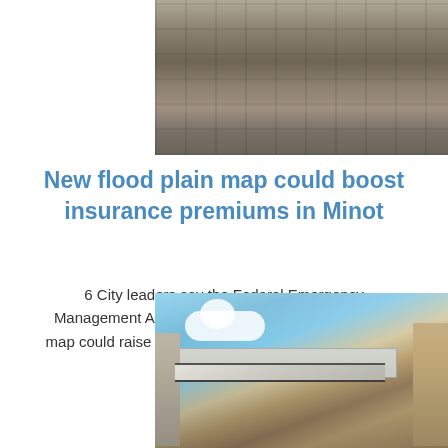[Figure (photo): Top photo showing concrete/stone flood infrastructure or bridge structure from above, grayscale-toned]
New flood plain map could boost insurance premiums in Minot
6 City leaders say the Federal Emergency Management Agency 39s proposed new flood plain map could raise insurance premiums for thousands of prop
[Figure (photo): Bottom photo showing bridge or flood barrier structure from below against a blue sky with clouds, showing concrete pillars and steel beam]